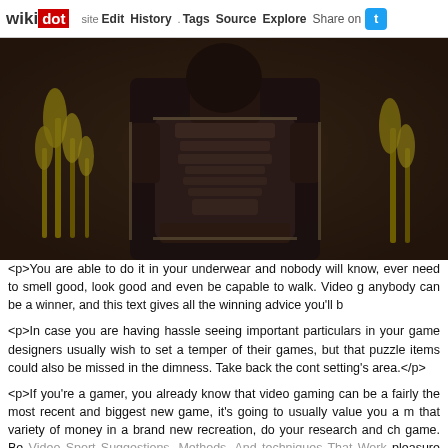wikidot | site Edit History Tags Source Explore Share on Twitter
[Figure (screenshot): Screenshot of a dark fantasy video game character wearing ornate armor, surrounded by yellow plants and a dark wooden background]
<p>You are able to do it in your underwear and nobody will know, even need to smell good, look good and even be capable to walk. Video g anybody can be a winner, and this text gives all the winning advice you'll b
<p>In case you are having hassle seeing important particulars in your game designers usually wish to set a temper of their games, but that puzzle items could also be missed in the dimness. Take back the cont setting's area.</p>
<p>If you're a gamer, you already know that video gaming can be a fairly the most recent and biggest new game, it's going to usually value you a m that variety of money in a brand new recreation, do your research and ch game. Be Video Sport Suggestions, Methods, And techniques That Work pleasure before you buy it.</p>